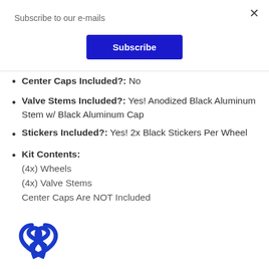Subscribe to our e-mails
Subscribe
Center Caps Included?: No
Valve Stems Included?: Yes! Anodized Black Aluminum Stem w/ Black Aluminum Cap
Stickers Included?: Yes! 2x Black Stickers Per Wheel
Kit Contents: (4x) Wheels (4x) Valve Stems Center Caps Are NOT Included
[Figure (logo): Blue stylized shield/heart logo icon at bottom left]